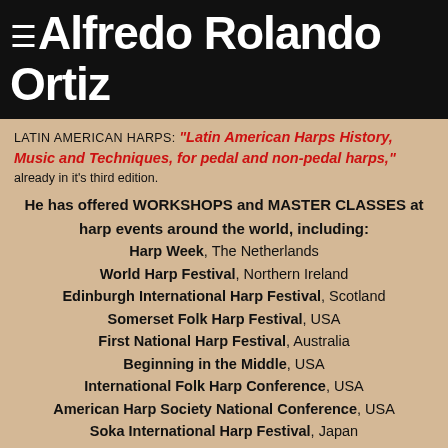≡ Alfredo Rolando Ortiz
LATIN AMERICAN HARPS: "Latin American Harps History, Music and Techniques, for pedal and non-pedal harps," already in it's third edition.
He has offered WORKSHOPS and MASTER CLASSES at harp events around the world, including: Harp Week, The Netherlands; World Harp Festival, Northern Ireland; Edinburgh International Harp Festival, Scotland; Somerset Folk Harp Festival, USA; First National Harp Festival, Australia; Beginning in the Middle, USA; International Folk Harp Conference, USA; American Harp Society National Conference, USA; Soka International Harp Festival, Japan; Southeastern Harp Weekend, USA; Latin American Harpists Encounters (Mexico, Venezuela, Brazil)